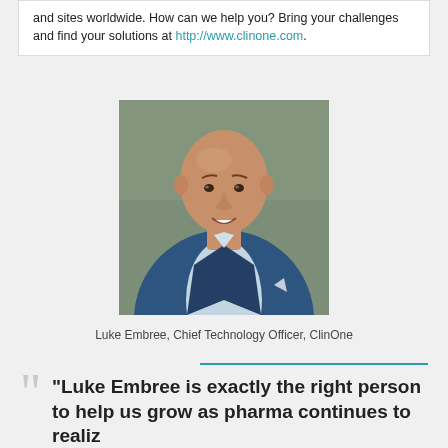and sites worldwide. How can we help you? Bring your challenges and find your solutions at http://www.clinone.com.
[Figure (photo): Professional headshot of Luke Embree, a bald man in a navy blue suit jacket over a light blue shirt, smiling, against a neutral grey-green background.]
Luke Embree, Chief Technology Officer, ClinOne
"Luke Embree is exactly the right person to help us grow as pharma continues to realiz...